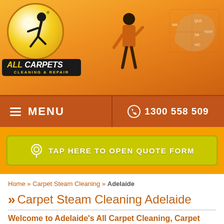[Figure (logo): All Carpets Cleaning & Repair logo with circular emblem showing silhouette of cleaner, orange background banner with person cleaning and Australia map]
≡ MENU
☎ 1300 558 509
TAP HERE TO OPEN QUOTE FORM
Home » Carpet Steam Cleaning » Adelaide
Carpet Steam Cleaning Adelaide
Welcome to Adelaide's All Carpet Cleaning, Carpet Steam Cleaning